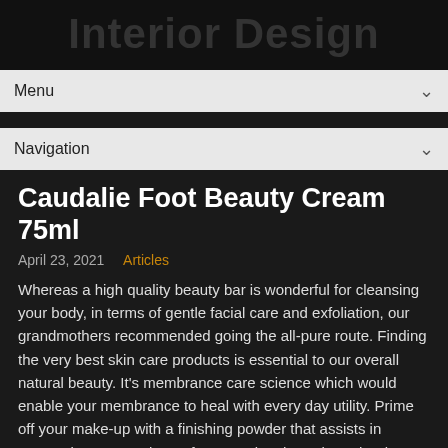Interior Design
Menu
Navigation
Caudalie Foot Beauty Cream 75ml
April 23, 2021   Articles
Whereas a high quality beauty bar is wonderful for cleansing your body, in terms of gentle facial care and exfoliation, our grandmothers recommended going the all-pure route. Finding the very best skin care products is essential to our overall natural beauty. It's membrance care science which would enable your membrance to heal with every day utility. Prime off your make-up with a finishing powder that assists in conserving your make-up from running throughout the day. “I use sunscreen all the time and I've to use oil blotters all through the day … Sunscreen use not only reduces the risk of skin cancer and sunburn, it additionally reduces the ageing impact of the sun. Some absorb the UVB a part of the